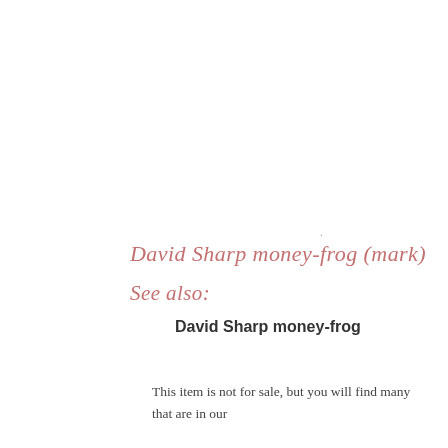.
David Sharp money-frog (mark)
See also:
David Sharp money-frog
This item is not for sale, but you will find many that are in our